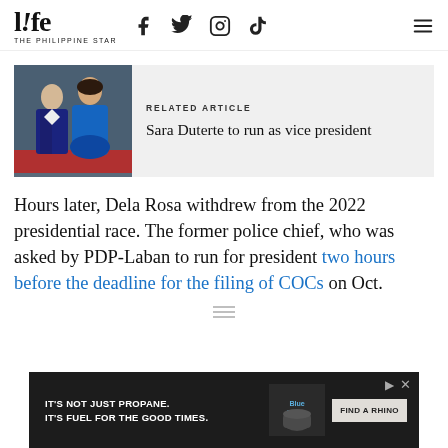life THE PHILIPPINE STAR
[Figure (other): Related article box with photo of two people (a man in dark suit and a woman in blue dress) standing on a red carpet, alongside label RELATED ARTICLE and headline Sara Duterte to run as vice president]
Hours later, Dela Rosa withdrew from the 2022 presidential race. The former police chief, who was asked by PDP-Laban to run for president two hours before the deadline for the filing of COCs on Oct.
[Figure (infographic): Advertisement banner: IT'S NOT JUST PROPANE. IT'S FUEL FOR THE GOOD TIMES. FIND A RHINO]